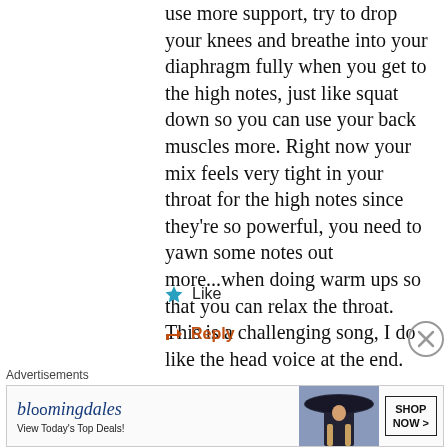use more support, try to drop your knees and breathe into your diaphragm fully when you get to the high notes, just like squat down so you can use your back muscles more. Right now your mix feels very tight in your throat for the high notes since they're so powerful, you need to yawn some notes out more...when doing warm ups so that you can relax the throat. This is a challenging song, I do like the head voice at the end.
★ Like
↪ Reply
Advertisements
[Figure (other): Bloomingdale's advertisement banner with logo, tagline 'View Today's Top Deals!', woman in wide-brim hat, and 'SHOP NOW >' button]